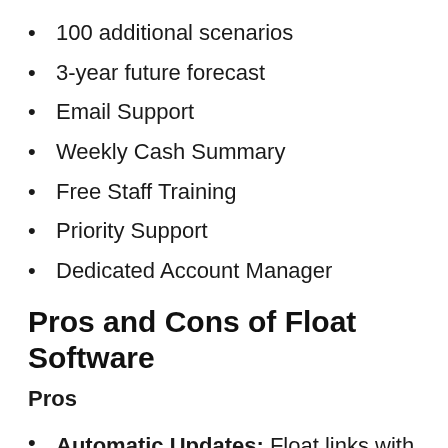100 additional scenarios
3-year future forecast
Email Support
Weekly Cash Summary
Free Staff Training
Priority Support
Dedicated Account Manager
Pros and Cons of Float Software
Pros
Automatic Updates: Float links with your accounting software and thus